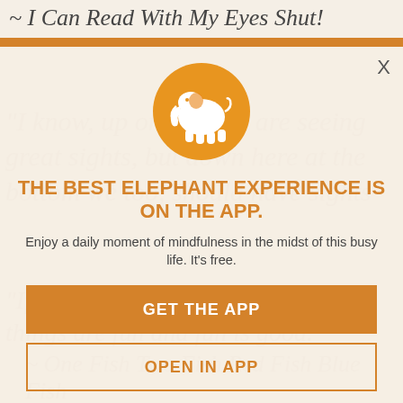~ I Can Read With My Eyes Shut!
[Figure (illustration): Orange circular badge with a white elephant silhouette in the center, used as the Elephant app logo.]
THE BEST ELEPHANT EXPERIENCE IS ON THE APP.
Enjoy a daily moment of mindfulness in the midst of this busy life. It's free.
GET THE APP
OPEN IN APP